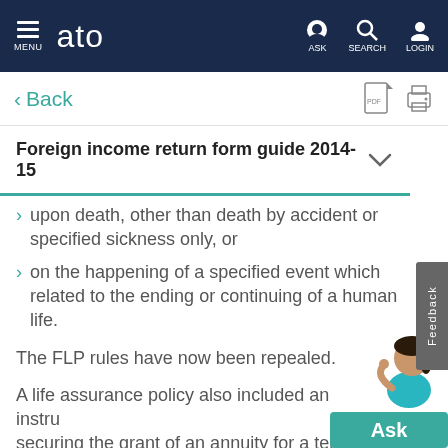MENU  ato  ASK  SEARCH  LOGIN
< Back
Foreign income return form guide 2014-15
upon death, other than death by accident or specified sickness only, or
on the happening of a specified event which related to the ending or continuing of a human life.
The FLP rules have now been repealed.
A life assurance policy also included an instrument securing the grant of an annuity for a term dependent upon a human life (former subsection